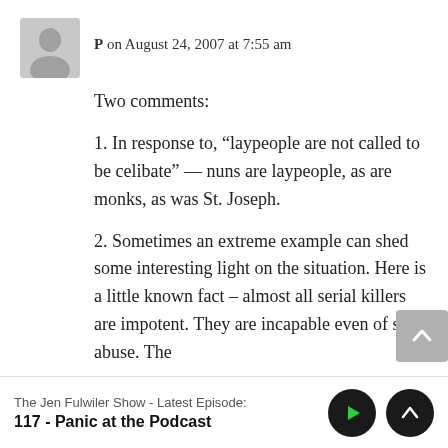P on August 24, 2007 at 7:55 am
Two comments:
1. In response to, “laypeople are not called to be celibate” — nuns are laypeople, as are monks, as was St. Joseph.
2. Sometimes an extreme example can shed some interesting light on the situation. Here is a little known fact – almost all serial killers are impotent. They are incapable even of self abuse. The
The Jen Fulwiler Show - Latest Episode:
117 - Panic at the Podcast